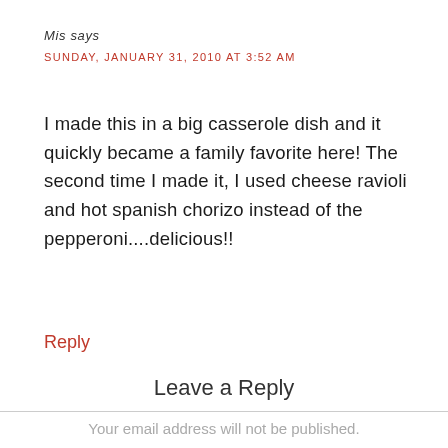Mis says
SUNDAY, JANUARY 31, 2010 AT 3:52 AM
I made this in a big casserole dish and it quickly became a family favorite here! The second time I made it, I used cheese ravioli and hot spanish chorizo instead of the pepperoni....delicious!!
Reply
Leave a Reply
Your email address will not be published.